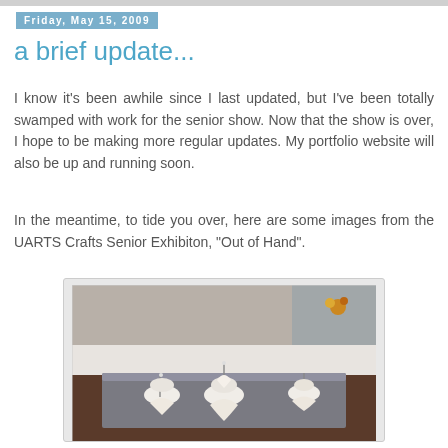Friday, May 15, 2009
a brief update...
I know it's been awhile since I last updated, but I've been totally swamped with work for the senior show. Now that the show is over, I hope to be making more regular updates. My portfolio website will also be up and running soon.
In the meantime, to tide you over, here are some images from the UARTS Crafts Senior Exhibiton, "Out of Hand".
[Figure (photo): Exhibition photo showing three white ceramic spine/bone-like sculptures mounted on metal pins displayed on a gray rectangular platform/plinth, taken inside a glass display case at the UARTS Crafts Senior Exhibition 'Out of Hand']